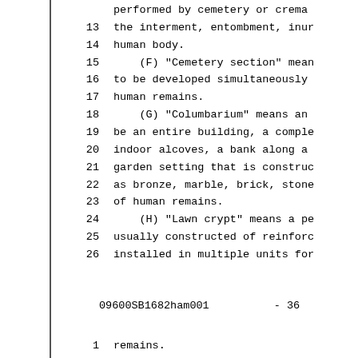performed by cemetery or crema
13    the interment, entombment, inur
14    human body.
15        (F) "Cemetery section" mean
16    to be developed simultaneously
17    human remains.
18        (G) "Columbarium" means an
19    be an entire building, a comple
20    indoor alcoves, a bank along a
21    garden setting that is construc
22    as bronze, marble, brick, stone
23    of human remains.
24        (H) "Lawn crypt" means a pe
25    usually constructed of reinforc
26    installed in multiple units for
09600SB1682ham001          - 36
1     remains.